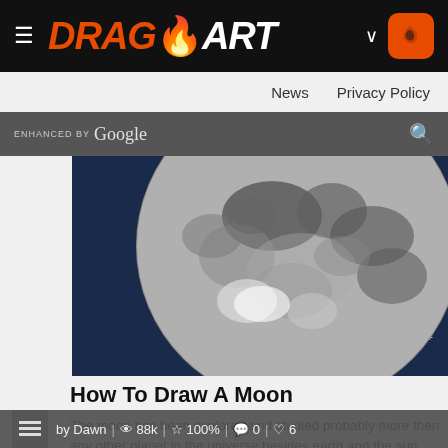DRAGO ART — hamburger menu, logo, chevron, icon
News   Privacy Policy
ENHANCED BY Google [search]
[Figure (illustration): Illustrated full moon on dark blue starry night sky background, drawn in grayscale with craters visible, bright star reflections]
How To Draw A Moon
The moon has been explored and studied probably more then any other planet in the universe besides earth and the sun. Yo ...
by Dawn | 88k | 100% | 0 | 6